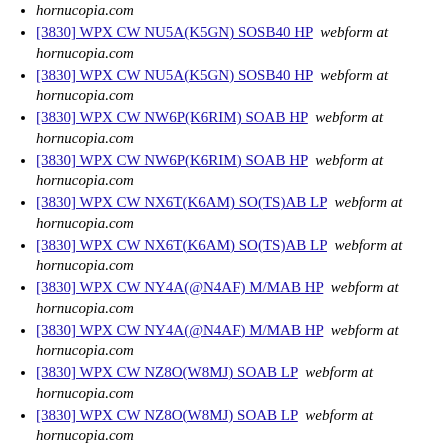hornucopia.com
[3830] WPX CW NU5A(K5GN) SOSB40 HP  webform at hornucopia.com
[3830] WPX CW NU5A(K5GN) SOSB40 HP  webform at hornucopia.com
[3830] WPX CW NW6P(K6RIM) SOAB HP  webform at hornucopia.com
[3830] WPX CW NW6P(K6RIM) SOAB HP  webform at hornucopia.com
[3830] WPX CW NX6T(K6AM) SO(TS)AB LP  webform at hornucopia.com
[3830] WPX CW NX6T(K6AM) SO(TS)AB LP  webform at hornucopia.com
[3830] WPX CW NY4A(@N4AF) M/MAB HP  webform at hornucopia.com
[3830] WPX CW NY4A(@N4AF) M/MAB HP  webform at hornucopia.com
[3830] WPX CW NZ8O(W8MJ) SOAB LP  webform at hornucopia.com
[3830] WPX CW NZ8O(W8MJ) SOAB LP  webform at hornucopia.com
[3830] WPX CW OE1A(OE1EMS) SOAB HP  webform at hornucopia.com
[3830] WPX CW OE1A(OE1EMS) SOAB HP  webform at hornucopia.com